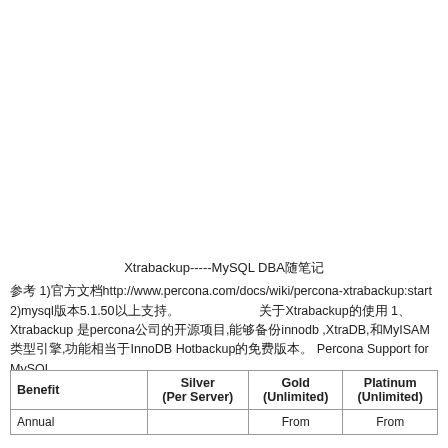Xtrabackup-----MySQL DBA随笔记 参考 1)官方文档http://www.percona.com/docs/wiki/percona-xtrabackup:start 2)mysql版本5.1.50以上支持。 关于Xtrabackup的使用 1、Xtrabackup 是percona公司的开源项目,能够备份innodb ,XtraDB,和MyISAM类型引擎,功能相当于InnoDB Hotbackup的免费版本。 Percona Support for MySQL
| Benefit | Silver
(Per Server) | Gold
(Unlimited) | Platinum
(Unlimited) |
| --- | --- | --- | --- |
| Annual |  | From | From |